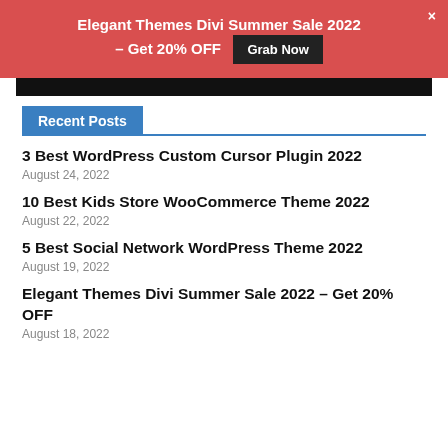Elegant Themes Divi Summer Sale 2022 – Get 20% OFF  Grab Now  ×
Recent Posts
3 Best WordPress Custom Cursor Plugin 2022
August 24, 2022
10 Best Kids Store WooCommerce Theme 2022
August 22, 2022
5 Best Social Network WordPress Theme 2022
August 19, 2022
Elegant Themes Divi Summer Sale 2022 – Get 20% OFF
August 18, 2022